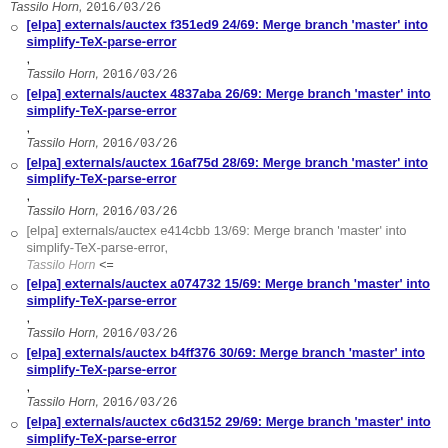Tassilo Horn, 2016/03/26
[elpa] externals/auctex f351ed9 24/69: Merge branch 'master' into simplify-TeX-parse-error, Tassilo Horn, 2016/03/26
[elpa] externals/auctex 4837aba 26/69: Merge branch 'master' into simplify-TeX-parse-error, Tassilo Horn, 2016/03/26
[elpa] externals/auctex 16af75d 28/69: Merge branch 'master' into simplify-TeX-parse-error, Tassilo Horn, 2016/03/26
[elpa] externals/auctex e414cbb 13/69: Merge branch 'master' into simplify-TeX-parse-error, Tassilo Horn <=
[elpa] externals/auctex a074732 15/69: Merge branch 'master' into simplify-TeX-parse-error, Tassilo Horn, 2016/03/26
[elpa] externals/auctex b4ff376 30/69: Merge branch 'master' into simplify-TeX-parse-error, Tassilo Horn, 2016/03/26
[elpa] externals/auctex c6d3152 29/69: Merge branch 'master' into simplify-TeX-parse-error, Tassilo Horn, 2016/03/26
[elpa] externals/auctex 7d4bfac 18/69: Merge branch 'master' into simplify-TeX-parse-error, Tassilo Horn, 2016/03/26
[elpa] externals/auctex 313-74- 17/69: Merge...